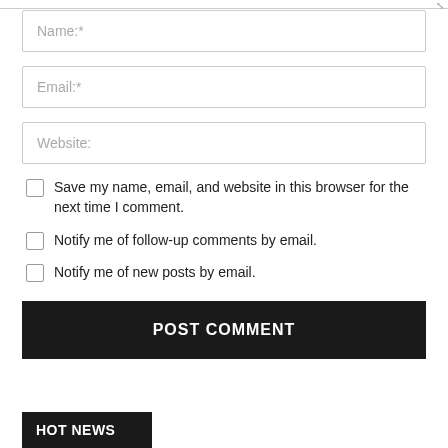Name:*
Email:*
Website:
Save my name, email, and website in this browser for the next time I comment.
Notify me of follow-up comments by email.
Notify me of new posts by email.
POST COMMENT
HOT NEWS